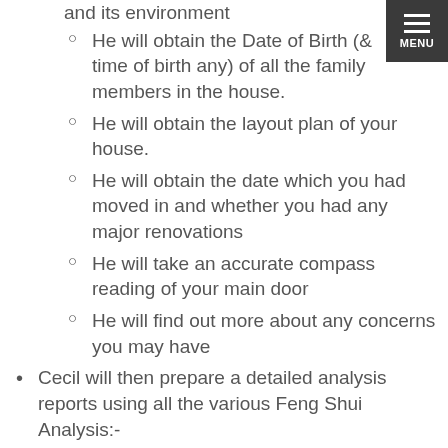and its environment
He will obtain the Date of Birth (& time of birth any) of all the family members in the house.
He will obtain the layout plan of your house.
He will obtain the date which you had moved in and whether you had any major renovations
He will take an accurate compass reading of your main door
He will find out more about any concerns you may have
Cecil will then prepare a detailed analysis reports using all the various Feng Shui Analysis:-
Shapes & Forms (Exterior of the house)
Pillars of Destiny (Ba Zi Feng Shui)
Eight House
Flying Star (Xuan Kong Fei Xing)
Shapes & Forms (Interior of the house)
During the Second Visit